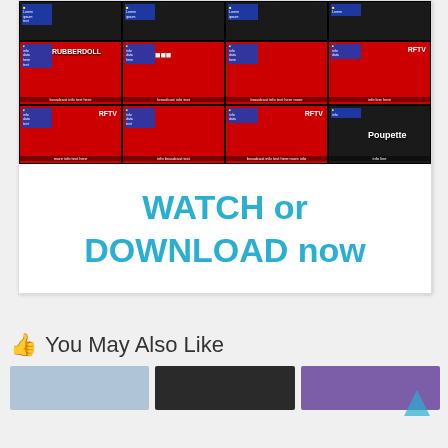[Figure (screenshot): Grid of 12 video thumbnails showing TV broadcast screenshots with red backgrounds, text overlays including RFTV logo, and labels like RUBBERDOLL, POUPETTE, and Poupette]
WATCH or DOWNLOAD now
You May Also Like
[Figure (photo): Three small thumbnail images for related content: woman in office setting, person with blonde hair, purple fabric/clothing]